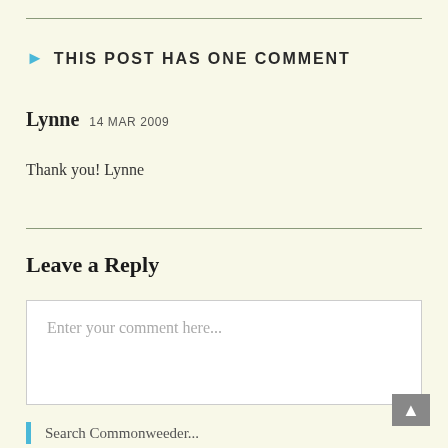> THIS POST HAS ONE COMMENT
Lynne 14 MAR 2009
Thank you! Lynne
Leave a Reply
Enter your comment here...
Search Commonweeder...